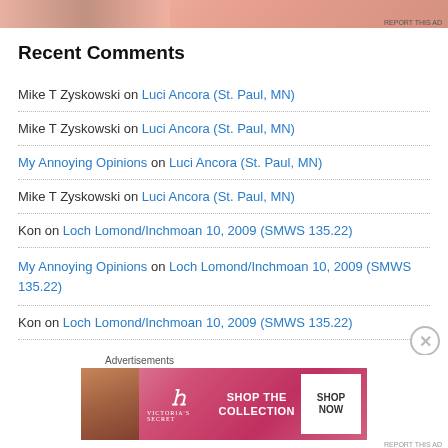[Figure (photo): Top advertisement banner with pink/skin-tone background, 'REPORT THIS AD' text visible]
Recent Comments
Mike T Zyskowski on Luci Ancora (St. Paul, MN)
Mike T Zyskowski on Luci Ancora (St. Paul, MN)
My Annoying Opinions on Luci Ancora (St. Paul, MN)
Mike T Zyskowski on Luci Ancora (St. Paul, MN)
Kon on Loch Lomond/Inchmoan 10, 2009 (SMWS 135.22)
My Annoying Opinions on Loch Lomond/Inchmoan 10, 2009 (SMWS 135.22)
Kon on Loch Lomond/Inchmoan 10, 2009 (SMWS 135.22)
[Figure (photo): Victoria's Secret advertisement banner at bottom with model, VS logo, 'SHOP THE COLLECTION' text and 'SHOP NOW' button]